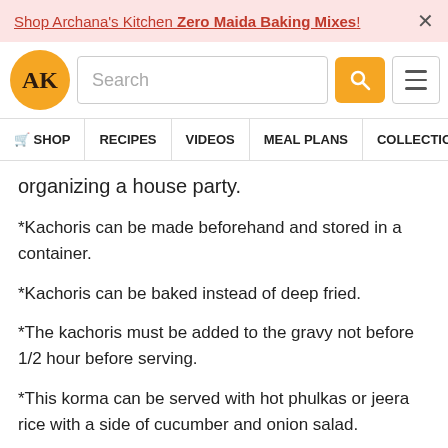Shop Archana's Kitchen Zero Maida Baking Mixes! ×
[Figure (logo): Archana's Kitchen logo - AK in gold circle, search bar, search button, hamburger menu]
🛒 SHOP   RECIPES   VIDEOS   MEAL PLANS   COLLECTIONS   AR
organizing a house party.
*Kachoris can be made beforehand and stored in a container.
*Kachoris can be baked instead of deep fried.
*The kachoris must be added to the gravy not before 1/2 hour before serving.
*This korma can be served with hot phulkas or jeera rice with a side of cucumber and onion salad.
Matar Paneer Kachori Korma Recipe - Green Peas And Paneer Kachori Curry is part of the Indian Curry And Gravy Recipe